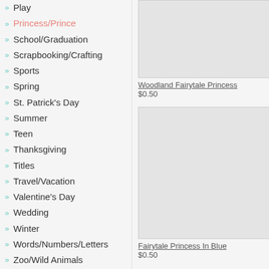Play
Princess/Prince
School/Graduation
Scrapbooking/Crafting
Sports
Spring
St. Patrick's Day
Summer
Teen
Thanksgiving
Titles
Travel/Vacation
Valentine's Day
Wedding
Winter
Words/Numbers/Letters
Zoo/Wild Animals
Miscellaneous
[Figure (photo): Product image for Woodland Fairytale Princess (top, partially visible)]
Woodland Fairytale Princess
$0.50
[Figure (photo): Product image for Fairytale Princess In Blue]
Fairytale Princess In Blue
$0.50